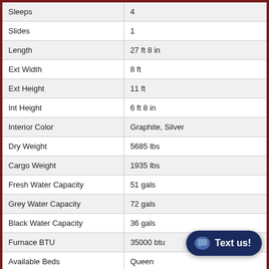| Spec | Value |
| --- | --- |
| Sleeps | 4 |
| Slides | 1 |
| Length | 27 ft 8 in |
| Ext Width | 8 ft |
| Ext Height | 11 ft |
| Int Height | 6 ft 8 in |
| Interior Color | Graphite, Silver |
| Dry Weight | 5685 lbs |
| Cargo Weight | 1935 lbs |
| Fresh Water Capacity | 51 gals |
| Grey Water Capacity | 72 gals |
| Black Water Capacity | 36 gals |
| Furnace BTU | 35000 btu |
| Available Beds | Queen |
| Refrigerator Type | Stainless Steel |
| Refrigerator Size | 10.7 cu ft |
| Cooktop Burners | 3 |
| Number of Awnings | 1 |